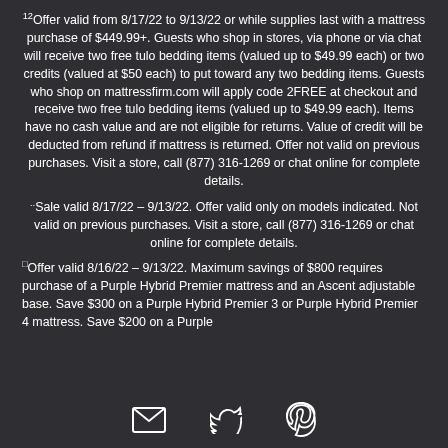12Offer valid from 8/17/22 to 9/13/22 or while supplies last with a mattress purchase of $449.99+. Guests who shop in stores, via phone or via chat will receive two free tulo bedding items (valued up to $49.99 each) or two credits (valued at $50 each) to put toward any two bedding items. Guests who shop on mattressfirm.com will apply code 2FREE at checkout and receive two free tulo bedding items (valued up to $49.99 each). Items have no cash value and are not eligible for returns. Value of credit will be deducted from refund if mattress is returned. Offer not valid on previous purchases. Visit a store, call (877) 316-1269 or chat online for complete details.
..Sale valid 8/17/22 – 9/13/22. Offer valid only on models indicated. Not valid on previous purchases. Visit a store, call (877) 316-1269 or chat online for complete details.
□Offer valid 8/16/22 – 9/13/22. Maximum savings of $800 requires purchase of a Purple Hybrid Premier mattress and an Ascent adjustable base. Save $300 on a Purple Hybrid Premier 3 or Purple Hybrid Premier 4 mattress. Save $200 on a Purple
[Figure (illustration): Row of three social media icons: envelope (email), Twitter bird, Pinterest P logo]